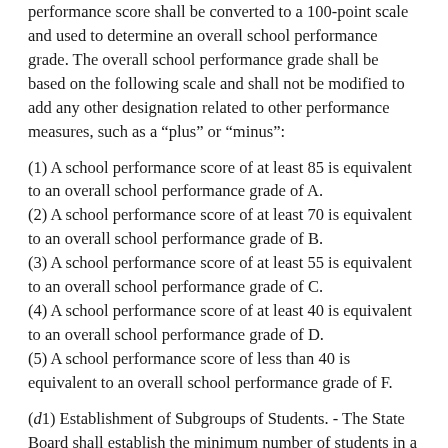performance score shall be converted to a 100-point scale and used to determine an overall school performance grade. The overall school performance grade shall be based on the following scale and shall not be modified to add any other designation related to other performance measures, such as a “plus” or “minus”:
(1) A school performance score of at least 85 is equivalent to an overall school performance grade of A.
(2) A school performance score of at least 70 is equivalent to an overall school performance grade of B.
(3) A school performance score of at least 55 is equivalent to an overall school performance grade of C.
(4) A school performance score of at least 40 is equivalent to an overall school performance grade of D.
(5) A school performance score of less than 40 is equivalent to an overall school performance grade of F.
(d1) Establishment of Subgroups of Students. - The State Board shall establish the minimum number of students in a subgroup served by a school that is necessary to disaggregate information served by a school that is necessary to disaggregate information